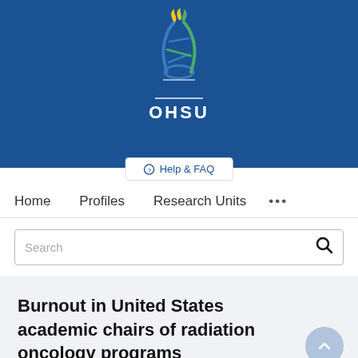[Figure (logo): OHSU (Oregon Health & Science University) logo with blue background, featuring a stylized DNA double helix with gold and green flame above it, and 'OHSU' text in white below]
Help & FAQ
Home  Profiles  Research Units  ...
Search
Burnout in United States academic chairs of radiation oncology programs